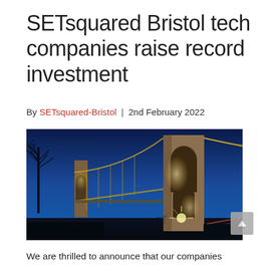SETsquared Bristol tech companies raise record investment
By SETsquared-Bristol | 2nd February 2022
[Figure (photo): Night-time photograph of the Clifton Suspension Bridge in Bristol, illuminated with golden lights against a deep blue evening sky, with bare trees silhouetted on the left.]
We are thrilled to announce that our companies